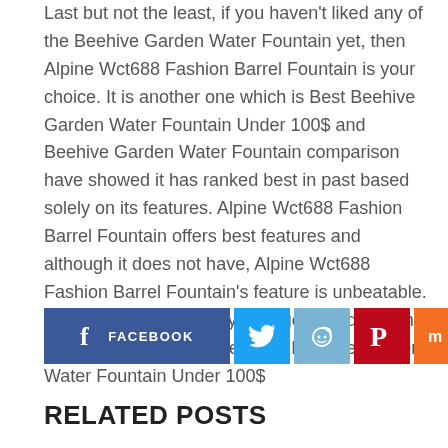Last but not the least, if you haven't liked any of the Beehive Garden Water Fountain yet, then Alpine Wct688 Fashion Barrel Fountain is your choice. It is another one which is Best Beehive Garden Water Fountain Under 100$ and Beehive Garden Water Fountain comparison have showed it has ranked best in past based solely on its features. Alpine Wct688 Fashion Barrel Fountain offers best features and although it does not have, Alpine Wct688 Fashion Barrel Fountain's feature is unbeatable. We would recommend you to go ahead with this if you want an all rounder Best Beehive Garden Water Fountain Under 100$
[Figure (other): Social media share buttons row: Facebook, Twitter, Reddit, Pinterest, Mix, Email]
RELATED POSTS